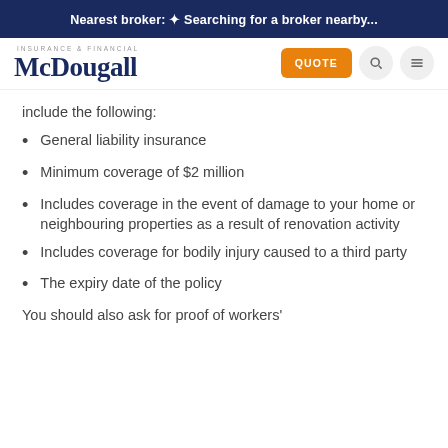Nearest broker: Searching for a broker nearby...
[Figure (logo): McDougall Insurance & Financial logo with QUOTE button, search icon, and menu icon]
include the following:
General liability insurance
Minimum coverage of $2 million
Includes coverage in the event of damage to your home or neighbouring properties as a result of renovation activity
Includes coverage for bodily injury caused to a third party
The expiry date of the policy
You should also ask for proof of workers'